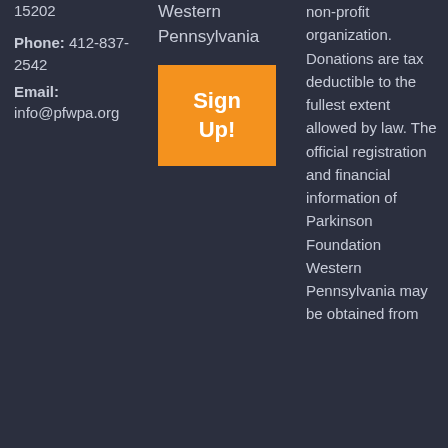15202
Phone: 412-837-2542
Email:
info@pfwpa.org
Western Pennsylvania
[Figure (other): Orange Sign Up! button]
non-profit organization. Donations are tax deductible to the fullest extent allowed by law. The official registration and financial information of Parkinson Foundation Western Pennsylvania may be obtained from